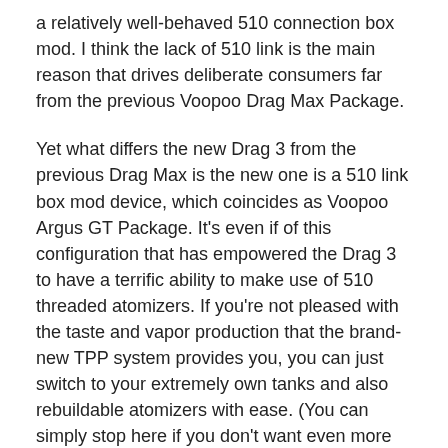a relatively well-behaved 510 connection box mod. I think the lack of 510 link is the main reason that drives deliberate consumers far from the previous Voopoo Drag Max Package.
Yet what differs the new Drag 3 from the previous Drag Max is the new one is a 510 link box mod device, which coincides as Voopoo Argus GT Package. It's even if of this configuration that has empowered the Drag 3 to have a terrific ability to make use of 510 threaded atomizers. If you're not pleased with the taste and vapor production that the brand-new TPP system provides you, you can just switch to your extremely own tanks and also rebuildable atomizers with ease. (You can simply stop here if you don't want even more information concerning the TPP system.).
There's no need to harp on the outdoors way too much since the pictures above will certainly tell you each detail...